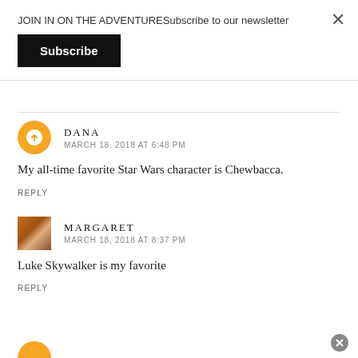JOIN IN ON THE ADVENTURESubscribe to our newsletter
Subscribe
DANA
MARCH 18, 2018 AT 6:48 PM
My all-time favorite Star Wars character is Chewbacca.
REPLY
MARGARET
MARCH 18, 2018 AT 8:37 PM
Luke Skywalker is my favorite
REPLY